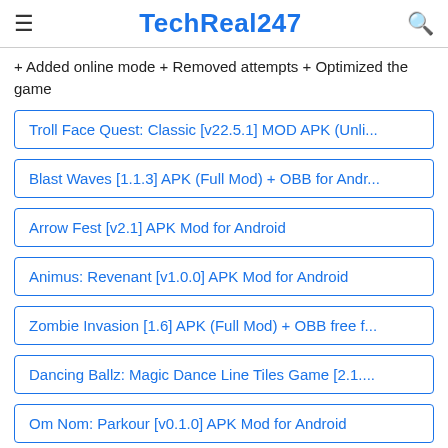TechReal247
+ Added online mode + Removed attempts + Optimized the game
Troll Face Quest: Classic [v22.5.1] MOD APK (Unli...
Blast Waves [1.1.3] APK (Full Mod) + OBB for Andr...
Arrow Fest [v2.1] APK Mod for Android
Animus: Revenant [v1.0.0] APK Mod for Android
Zombie Invasion [1.6] APK (Full Mod) + OBB free f...
Dancing Ballz: Magic Dance Line Tiles Game [2.1....
Om Nom: Parkour [v0.1.0] APK Mod for Android
Grand Hotel Mania [1.11.0.4] APK (MOD, Unlimite...